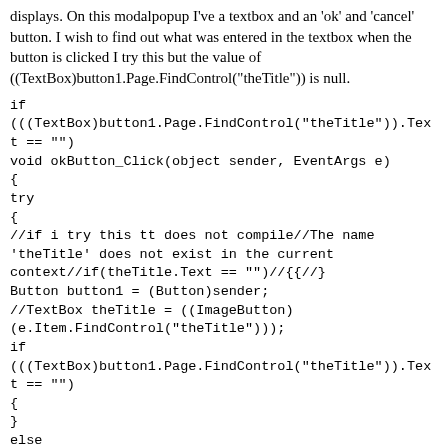displays. On this modalpopup I've a textbox and an 'ok' and 'cancel' button. I wish to find out what was entered in the textbox when the button is clicked I try this but the value of ((TextBox)button1.Page.FindControl("theTitle")) is null.
if (((TextBox)button1.Page.FindControl("theTitle")).Text == "")
void okButton_Click(object sender, EventArgs e)
{
try
{
//if i try this tt does not compile//The name 'theTitle' does not exist in the current context//if(theTitle.Text == "")//{{//}
Button button1 = (Button)sender;
//TextBox theTitle = ((ImageButton)
(e.Item.FindControl("theTitle")));
if (((TextBox)button1.Page.FindControl("theTitle")).Text == "")
{
}
else
{
}
}
catch (Exception)
{
}